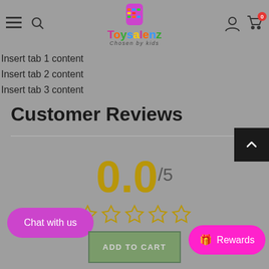[Figure (logo): Toysalenz logo with colorful icon and text 'Chosen by kids']
Insert tab 1 content
Insert tab 2 content
Insert tab 3 content
Customer Reviews
0.0/5 with 5 empty stars rating display
Chat with us
ADD TO CART
Rewards